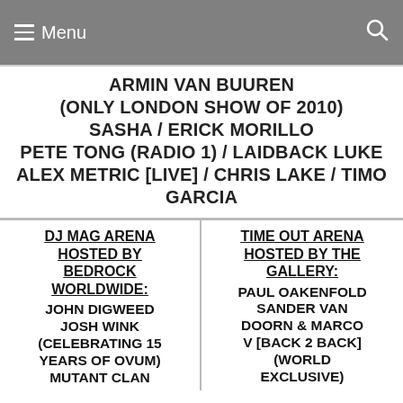Menu
ARMIN VAN BUUREN
(ONLY LONDON SHOW OF 2010)
SASHA / ERICK MORILLO
PETE TONG (RADIO 1) / LAIDBACK LUKE
ALEX METRIC [LIVE] / CHRIS LAKE / TIMO GARCIA
DJ MAG ARENA HOSTED BY BEDROCK WORLDWIDE:
JOHN DIGWEED
JOSH WINK (CELEBRATING 15 YEARS OF OVUM)
MUTANT CLAN
TIME OUT ARENA HOSTED BY THE GALLERY:
PAUL OAKENFOLD
SANDER VAN DOORN & MARCO V [BACK 2 BACK] (WORLD EXCLUSIVE)